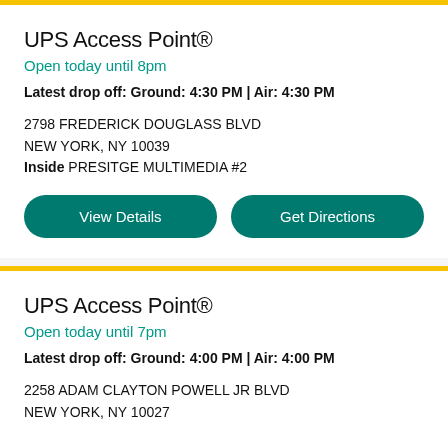UPS Access Point®
Open today until 8pm
Latest drop off: Ground: 4:30 PM | Air: 4:30 PM
2798 FREDERICK DOUGLASS BLVD
NEW YORK, NY 10039
Inside PRESITGE MULTIMEDIA #2
UPS Access Point®
Open today until 7pm
Latest drop off: Ground: 4:00 PM | Air: 4:00 PM
2258 ADAM CLAYTON POWELL JR BLVD
NEW YORK, NY 10027